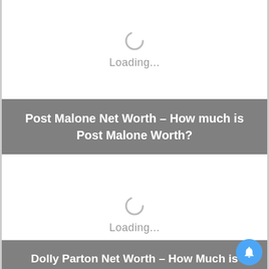[Figure (screenshot): Loading spinner (circular arc icon) above 'Loading...' text for Post Malone image]
Loading...
Post Malone Net Worth – How much is Post Malone Worth?
[Figure (screenshot): Loading spinner (circular arc icon) above 'Loading...' text for Dolly Parton image]
Loading...
Dolly Parton Net Worth – How Much is Dolly Parton Worth?